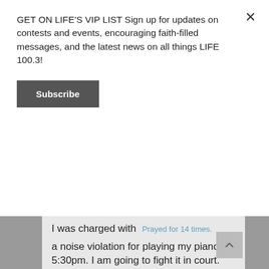GET ON LIFE'S VIP LIST Sign up for updates on contests and events, encouraging faith-filled messages, and the latest news on all things LIFE 100.3!
Subscribe
I was charged with a noise violation for playing my piano at 5:30pm. I am going to fight it in court. The guy who lived downstairs doesn't like me making any noise. But he is loud and obnoxious always screaming, cussing, hitting walls. Please pray for his salvation and for God's victory in this.
Prayed for 14 times.
Posted on December 17th, 2020